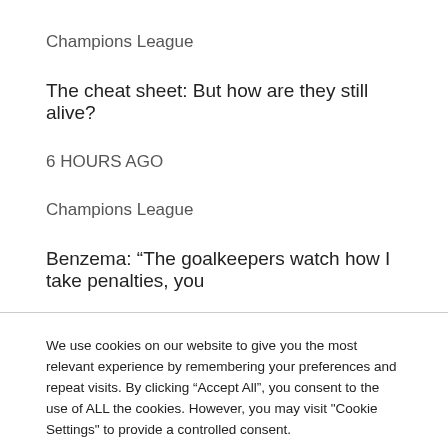Champions League
The cheat sheet: But how are they still alive?
6 HOURS AGO
Champions League
Benzema: “The goalkeepers watch how I take penalties, you
We use cookies on our website to give you the most relevant experience by remembering your preferences and repeat visits. By clicking “Accept All”, you consent to the use of ALL the cookies. However, you may visit "Cookie Settings" to provide a controlled consent.